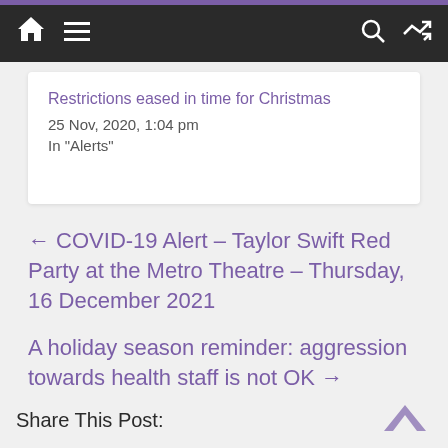Navigation bar with home, menu, search, and shuffle icons
Restrictions eased in time for Christmas
25 Nov, 2020, 1:04 pm
In "Alerts"
← COVID-19 Alert – Taylor Swift Red Party at the Metro Theatre – Thursday, 16 December 2021
A holiday season reminder: aggression towards health staff is not OK →
Share This Post: